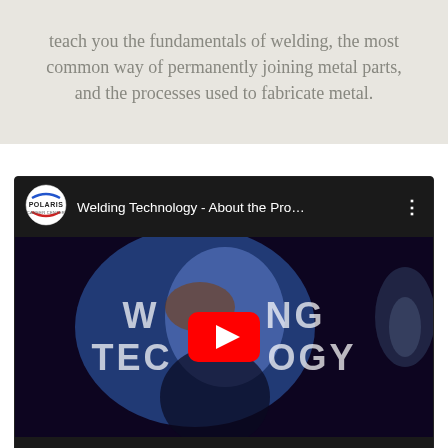teach you the fundamentals of welding, the most common way of permanently joining metal parts, and the processes used to fabricate metal.
[Figure (screenshot): YouTube video embed showing a Polaris Career Center video titled 'Welding Technology - About the Pro...' with a dark themed player, a blue-lit welding scene thumbnail with WELDING TECHNOLOGY text overlay, a YouTube play button, and an 'ABOUT THE PROGRAM' label at the bottom.]